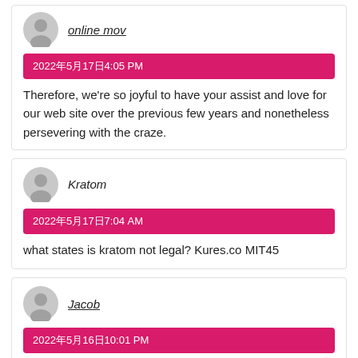online mov
2022年5月17日 4:05 PM
Therefore, we're so joyful to have your assist and love for our web site over the previous few years and nonetheless persevering with the craze.
Kratom
2022年5月17日 7:04 AM
what states is kratom not legal? Kures.co MIT45
Jacob
2022年5月16日 10:01 PM